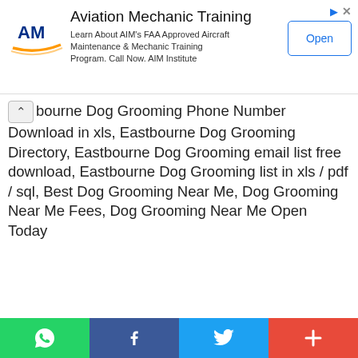[Figure (other): Advertisement banner for AIM Institute: Aviation Mechanic Training. Shows AIM logo, text about FAA Approved Aircraft Maintenance & Mechanic Training Program, and an Open button.]
bourne Dog Grooming Phone Number Download in xls, Eastbourne Dog Grooming Directory, Eastbourne Dog Grooming email list free download, Eastbourne Dog Grooming list in xls / pdf / sql, Best Dog Grooming Near Me, Dog Grooming Near Me Fees, Dog Grooming Near Me Open Today
Search Result For "Dog Grooming in Eastbourne"
Following are the some more results for query "Dog Grooming in Eastbourne" from all across the web.